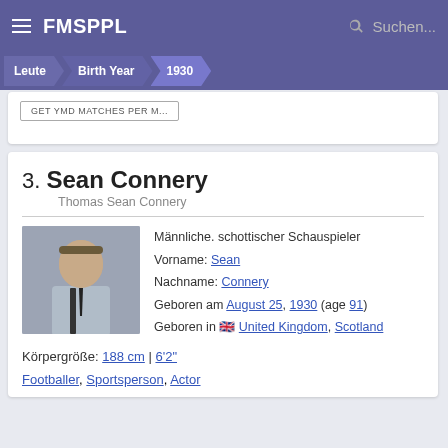FMSPPL
Leute > Birth Year > 1930
3. Sean Connery
Thomas Sean Connery
Männliche. schottischer Schauspieler
Vorname: Sean
Nachname: Connery
Geboren am August 25, 1930 (age 91)
Geboren in United Kingdom, Scotland
Körpergröße: 188 cm | 6'2"
Footballer, Sportsperson, Actor